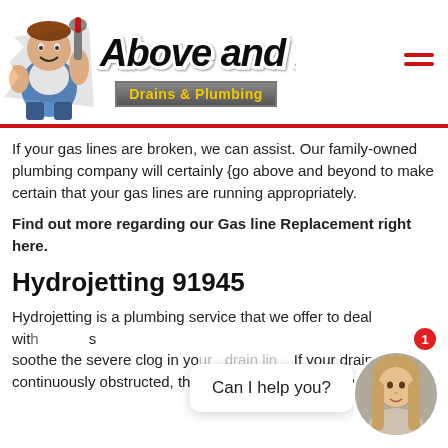[Figure (logo): Above and Beyond Drains & Plumbing logo with plumber mascot cartoon character holding a wrench, with stylized script text 'Above and Beyond' and yellow 'Drains & Plumbing' subtitle on gray metallic badge]
If your gas lines are broken, we can assist. Our family-owned plumbing company will certainly {go above and beyond to make certain that your gas lines are running appropriately.
Find out more regarding our Gas line Replacement right here.
Hydrojetting 91945
Hydrojetting is a plumbing service that we offer to deal with s soothe the severe clog in yo drain lin If your drain is s continuously obstructed, thi , tha eed.
[Figure (screenshot): Chat widget showing 'Can I help you?' bubble with female agent avatar photo and notification badge showing 1]